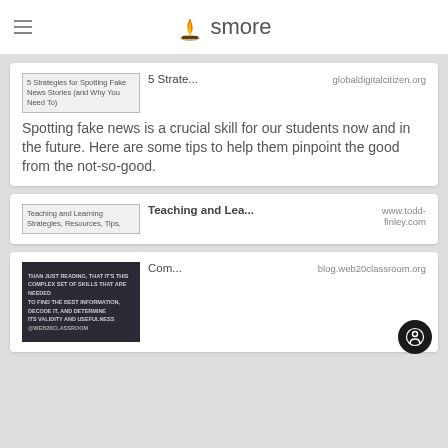smore
[Figure (screenshot): Card with thumbnail image for '5 Strategies for Spotting Fake News Stories (and Why You Need To)' from globaldigitalcitizen.org. Body text: Spotting fake news is a crucial skill for our students now and in the future. Here are some tips to help them pinpoint the good from the not-so-good.]
[Figure (screenshot): Card with thumbnail for 'Teaching and Learning Strategies, Resources, Tips,' from www.todd-finley.com]
[Figure (screenshot): Card with dark image thumbnail showing text about reading skills and @WEB20CLASSROOM, from blog.web20classroom.org. Title: Com...]